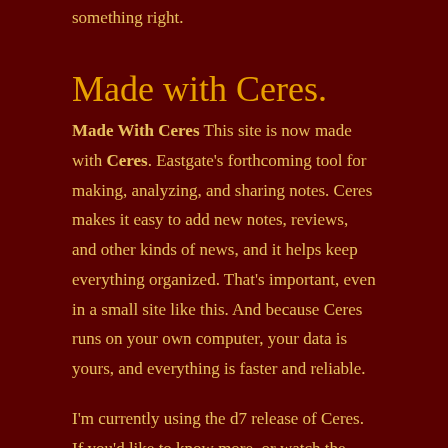something right.
Made with Ceres.
Made With Ceres This site is now made with Ceres. Eastgate's forthcoming tool for making, analyzing, and sharing notes. Ceres makes it easy to add new notes, reviews, and other kinds of news, and it helps keep everything organized. That's important, even in a small site like this. And because Ceres runs on your own computer, your data is yours, and everything is faster and reliable.
I'm currently using the d7 release of Ceres. If you'd like to know more, or watch the construction as it happens, visit the Eastgate Development Peekhole. If you notice that Ceres made a mistake somewhere in this site, please email me.